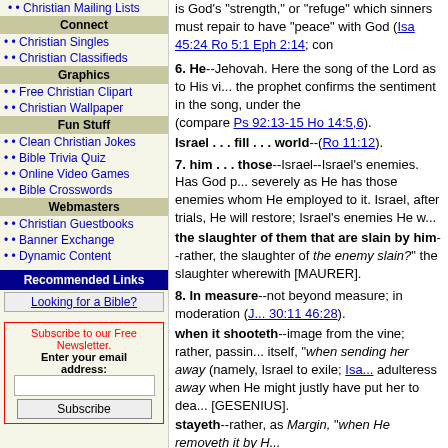• Christian Mailing Lists
Connect
• Christian Singles
• Christian Classifieds
Graphics
• Free Christian Clipart
• Christian Wallpaper
Fun Stuff
• Clean Christian Jokes
• Bible Trivia Quiz
• Online Video Games
• Bible Crosswords
Webmasters
• Christian Guestbooks
• Banner Exchange
• Dynamic Content
Recommended Links
Looking for a Bible?
Subscribe to our Free Newsletter. Enter your email address:
is God's "strength," or "refuge" which sinners must repair to have "peace" with God (Isa 45:24 Ro 5:1 Eph 2:14; con...
6. He--Jehovah. Here the song of the Lord as to His vi... the prophet confirms the sentiment in the song, under the ... (compare Ps 92:13-15 Ho 14:5,6). Israel . . . fill . . . world--(Ro 11:12).
7. him . . . those--Israel--Israel's enemies. Has God p... severely as He has those enemies whom He employed to it. Israel, after trials, He will restore; Israel's enemies He w... the slaughter of them that are slain by him--rather, the slaughter of the enemy slain? the slaughter wherewith [MAURER].
8. In measure--not beyond measure; in moderation (J... 30:11 46:28). when it shooteth--image from the vine; rather, passin... itself, "when sending her away (namely, Israel to exile; Isa... adulteress away when He might justly have put her to dea... [GESENIUS]. stayeth--rather, as Margin, "when He removeth it by H... east wind--especially violent in the East (Job 27:21 Je...
9. By this--exile of Israel (the "sending away," Isa 27:8... purged--expiated [HORSLEY]. all the fruit--This is the whole benefit designed to be b... chastisement; namely, the removal of his (Israel's) sin (na... 9:21 Ho 10:8). when he--Jehovah; at the destruction of Jerusalem by... instrument. The Jews ever since have abhorred idolatry (c... not stand up--shall rise no more [HORSLEY].